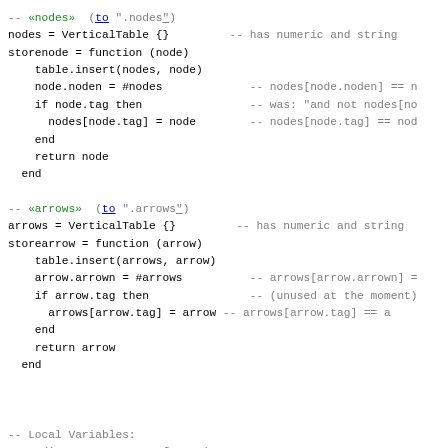-- «nodes»  (to ".nodes") 
nodes = VerticalTable {}         -- has numeric and string
storenode = function (node)
    table.insert(nodes, node)
    node.noden = #nodes             -- nodes[node.noden] == n
    if node.tag then                -- was: "and not nodes[no
      nodes[node.tag] = node        -- nodes[node.tag] == nod
    end
    return node
  end

-- «arrows»  (to ".arrows")
arrows = VerticalTable {}         -- has numeric and string
storearrow = function (arrow)
    table.insert(arrows, arrow)
    arrow.arrown = #arrows          -- arrows[arrow.arrown] =
    if arrow.tag then               -- (unused at the moment)
      arrows[arrow.tag] = arrow --  arrows[arrow.tag] == a
    end
    return arrow
  end



-- Local Variables:
-- coding:           utf-8-unix
-- End: